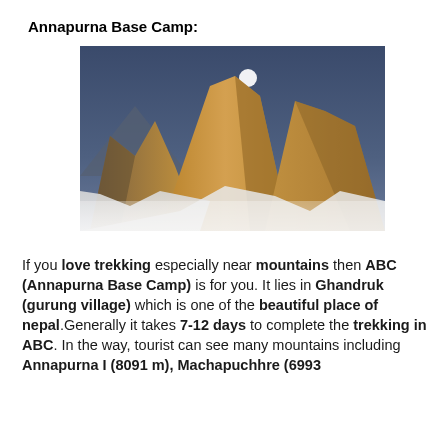Annapurna Base Camp:
[Figure (photo): Photograph of snow-capped Himalayan mountain peaks at golden hour with a full moon visible in the blue sky above. The rocky peaks are illuminated in warm orange-golden light with snow and glaciers below.]
If you love trekking especially near mountains then ABC (Annapurna Base Camp) is for you. It lies in Ghandruk (gurung village) which is one of the beautiful place of nepal.Generally it takes 7-12 days to complete the trekking in ABC. In the way, tourist can see many mountains including Annapurna I (8091 m), Machapuchhre (6993